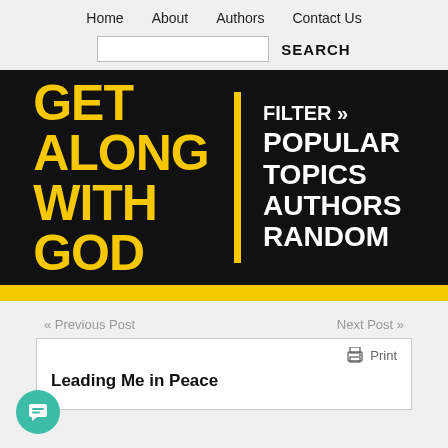Home   About   Authors   Contact Us
[Figure (screenshot): Search bar with input field and SEARCH label]
[Figure (logo): Get Along With God banner logo with yellow text on black background, with menu items: FILTER » POPULAR TOPICS AUTHORS RANDOM]
« Previous Post   Next Post »
[Figure (infographic): Print icon with Print label]
Leading Me in Peace